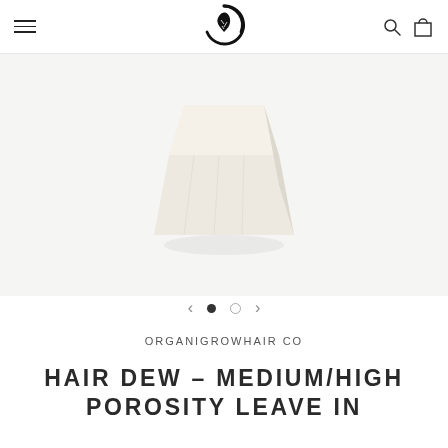ORGANIGROWHAIR CO — navigation header with hamburger menu, logo, search and cart icons
[Figure (photo): A cream/off-white square block (soap or product bar) on a light grey/white background. The product is centered in the image area.]
< • ○ >
ORGANIGROWHAIR CO
HAIR DEW – MEDIUM/HIGH POROSITY LEAVE IN